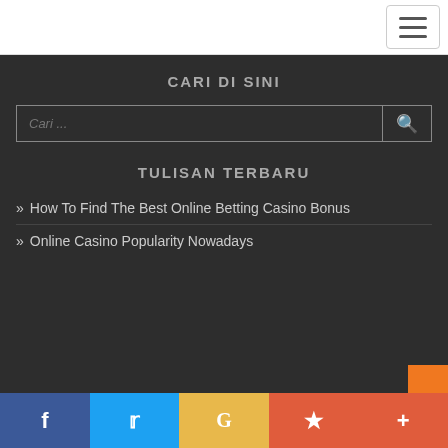[Navigation bar with hamburger menu icon]
CARI DI SINI
[Figure (other): Search input field with placeholder 'Cari ...' and a search button with magnifying glass icon]
TULISAN TERBARU
» How To Find The Best Online Betting Casino Bonus
» Online Casino Popularity Nowadays
Social share bar: Facebook, Twitter, Google, Star/Bookmark, Plus